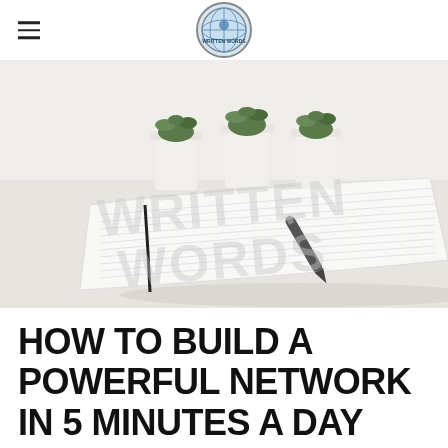WRITTEN WORDS (logo/brand header)
[Figure (photo): A white open notebook with lined pages and a pen resting on it, with three small white pots containing green succulents in the background. Watermark text reads 'WRITTEN WORDS' in large light gray letters across the image.]
HOW TO BUILD A POWERFUL NETWORK IN 5 MINUTES A DAY